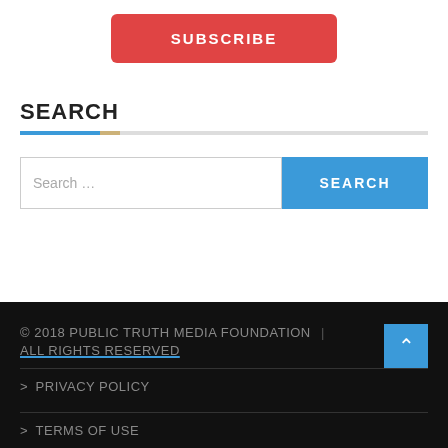[Figure (other): Red SUBSCRIBE button centered near top of page]
SEARCH
[Figure (other): Search input field with placeholder text 'Search ...' and blue SEARCH button]
© 2018 PUBLIC TRUTH MEDIA FOUNDATION | ALL RIGHTS RESERVED
> PRIVACY POLICY
> TERMS OF USE